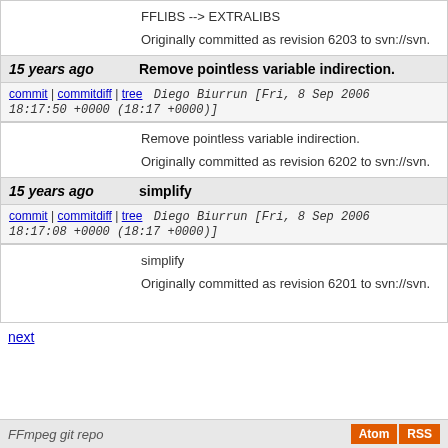FFLIBS --> EXTRALIBS

Originally committed as revision 6203 to svn://svn...
15 years ago   Remove pointless variable indirection.
commit | commitdiff | tree   Diego Biurrun [Fri, 8 Sep 2006 18:17:50 +0000 (18:17 +0000)]
Remove pointless variable indirection.

Originally committed as revision 6202 to svn://svn...
15 years ago   simplify
commit | commitdiff | tree   Diego Biurrun [Fri, 8 Sep 2006 18:17:08 +0000 (18:17 +0000)]
simplify

Originally committed as revision 6201 to svn://svn...
next
FFmpeg git repo   Atom  RSS